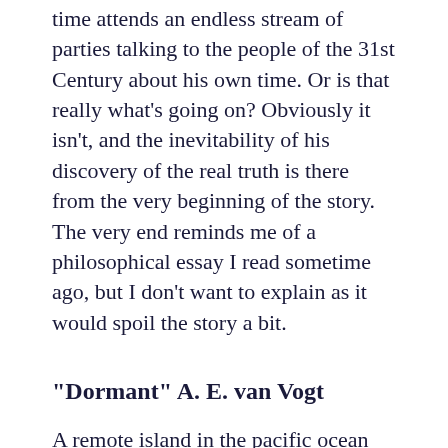time attends an endless stream of parties talking to the people of the 31st Century about his own time. Or is that really what's going on? Obviously it isn't, and the inevitability of his discovery of the real truth is there from the very beginning of the story. The very end reminds me of a philosophical essay I read sometime ago, but I don't want to explain as it would spoil the story a bit.
“Dormant” A. E. van Vogt
A remote island in the pacific ocean hosts an old device/creature that has been dormant for a very very long time indeed. This story both shows us the perspective of the people trying